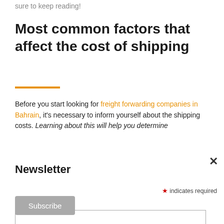sure to keep reading!
Most common factors that affect the cost of shipping
Before you start looking for freight forwarding companies in Bahrain, it's necessary to inform yourself about the shipping costs. Learning about this will help you determine
Newsletter
* indicates required
Email Address *
Subscribe